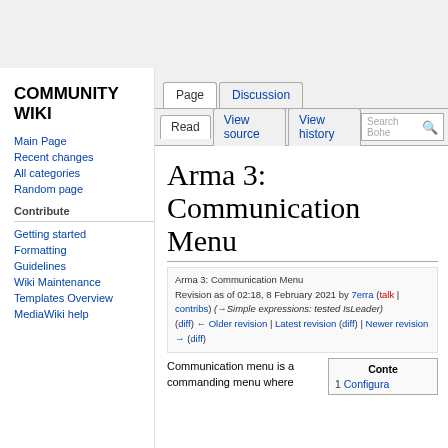COMMUNITY WIKI
Page | Discussion | Read | View source | View history
Arma 3: Communication Menu
Arma 3: Communication Menu
Revision as of 02:18, 8 February 2021 by 7erra (talk | contribs) (→Simple expressions: tested IsLeader)
(diff) ← Older revision | Latest revision (diff) | Newer revision → (diff)
Communication menu is a commanding menu where
1 Configura...
Contents
Main Page
Recent changes
All categories
Random page
Contribute
Getting started
Formatting
Guidelines
Wiki Maintenance
Templates Overview
MediaWiki help